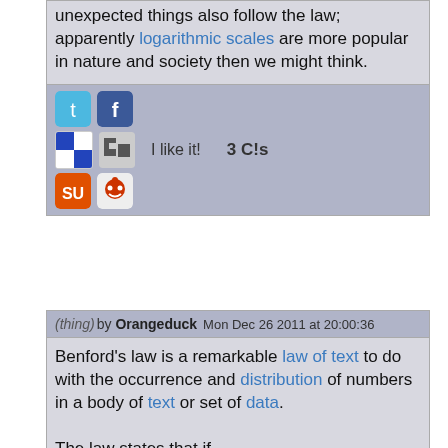unexpected things also follow the law; apparently logarithmic scales are more popular in nature and society then we might think.
[Figure (other): Social sharing bar with Twitter, Facebook, Delicious, Digg, StumbleUpon, Reddit icons, 'I like it!' button, and '3 C!s' count]
(thing) by Orangeduck Mon Dec 26 2011 at 20:00:36
Benford's law is a remarkable law of text to do with the occurrence and distribution of numbers in a body of text or set of data. The law states that if